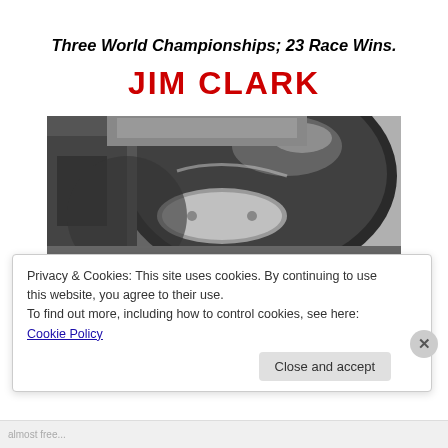Three World Championships; 23 Race Wins.
JIM CLARK
[Figure (photo): Black and white close-up photograph of a racing driver wearing a shiny Bell helmet, viewed from slightly above, showing the helmet visor and chin strap detail.]
Privacy & Cookies: This site uses cookies. By continuing to use this website, you agree to their use.
To find out more, including how to control cookies, see here: Cookie Policy
Close and accept